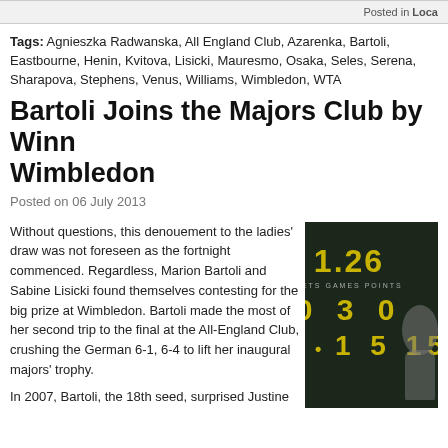CHIEF OF TENNIS PLANNING NEWS. FOLLOW HER ON TWITTER @TENNISCHIEFTN
Posted in Local
Tags: Agnieszka Radwanska, All England Club, Azarenka, Bartoli, Eastbourne, Henin, Kvitova, Lisicki, Mauresmo, Osaka, Seles, Serena, Sharapova, Stephens, Venus, Williams, Wimbledon, WTA
Bartoli Joins the Majors Club by Winn... Wimbledon
Posted on 06 July 2013
Without questions, this denouement to the ladies' draw was not foreseen as the fortnight commenced. Regardless, Marion Bartoli and Sabine Lisicki found themselves contesting for the big prize at Wimbledon. Bartoli made the most of her second trip to the final at the All-England Club, crushing the German 6-1, 6-4 to lift her inaugural majors' trophy.
In 2007, Bartoli, the 18th seed, surprised Justine
[Figure (photo): Scoreboard showing numbers 1.26, 0 3 0, and bullet 1 5 15 on a dark background, with a partial silhouette of a person on the right]